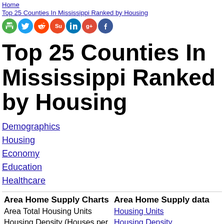Home
Top 25 Counties In Mississippi Ranked by Housing
[Figure (other): Social sharing icons: print (green), Twitter (blue), Reddit (orange), StumbleUpon (red-orange), LinkedIn (blue), Google+ (red), Facebook (dark blue)]
Top 25 Counties In Mississippi Ranked by Housing
Demographics
Housing
Economy
Education
Healthcare
| Area Home Supply Charts | Area Home Supply data |
| --- | --- |
| Area Total Housing Units | Housing Units |
| Housing Density (Houses per | Housing Density |